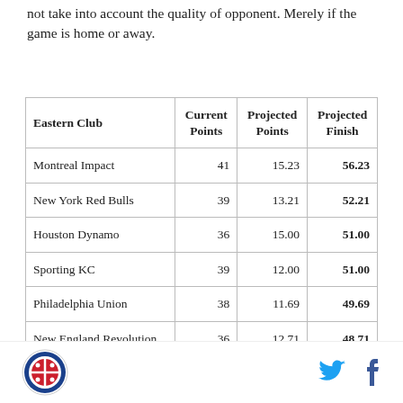not take into account the quality of opponent. Merely if the game is home or away.
| Eastern Club | Current Points | Projected Points | Projected Finish |
| --- | --- | --- | --- |
| Montreal Impact | 41 | 15.23 | 56.23 |
| New York Red Bulls | 39 | 13.21 | 52.21 |
| Houston Dynamo | 36 | 15.00 | 51.00 |
| Sporting KC | 39 | 12.00 | 51.00 |
| Philadelphia Union | 38 | 11.69 | 49.69 |
| New England Revolution | 36 | 12.71 | 48.71 |
[Chicago Fire logo] [Twitter icon] [Facebook icon]